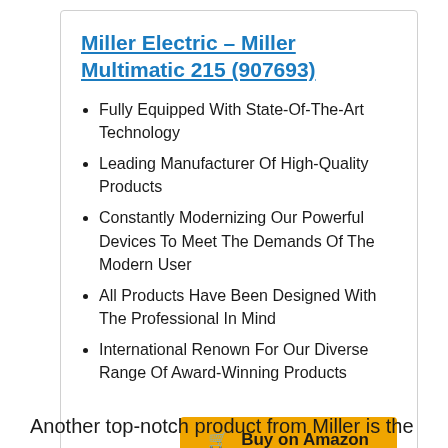Miller Electric - Miller Multimatic 215 (907693)
Fully Equipped With State-Of-The-Art Technology
Leading Manufacturer Of High-Quality Products
Constantly Modernizing Our Powerful Devices To Meet The Demands Of The Modern User
All Products Have Been Designed With The Professional In Mind
International Renown For Our Diverse Range Of Award-Winning Products
Buy on Amazon
Another top-notch product from Miller is the